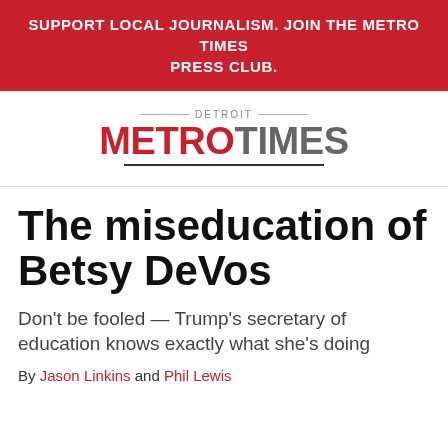SUPPORT LOCAL JOURNALISM. JOIN THE METRO TIMES PRESS CLUB.
[Figure (logo): Detroit Metro Times logo — 'DETROIT' in small caps above 'METRO' in red bold and 'TIMES' in gray bold, with a horizontal rule underline]
The miseducation of Betsy DeVos
Don't be fooled — Trump's secretary of education knows exactly what she's doing
By Jason Linkins and Phil Lewis